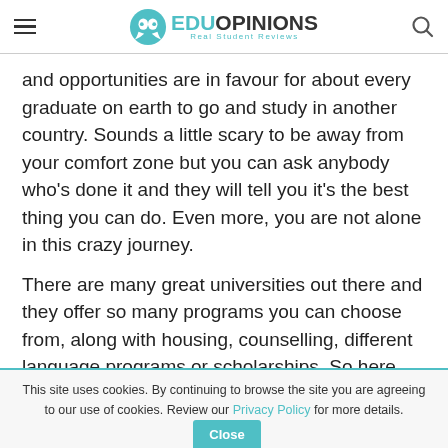EduOpinions — Real Student Reviews
and opportunities are in favour for about every graduate on earth to go and study in another country. Sounds a little scary to be away from your comfort zone but you can ask anybody who’s done it and they will tell you it’s the best thing you can do. Even more, you are not alone in this crazy journey.
There are many great universities out there and they offer so many programs you can choose from, along with housing, counselling, different language programs or scholarships. So here are our best picks of best places to study abroad:
This site uses cookies. By continuing to browse the site you are agreeing to our use of cookies. Review our Privacy Policy for more details. Close